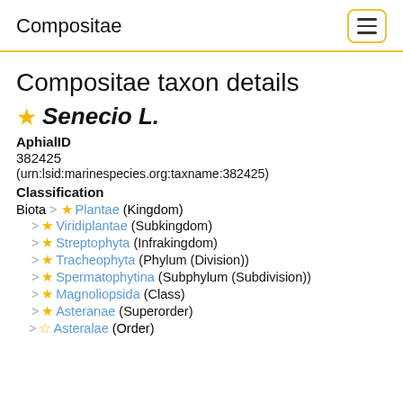Compositae
Compositae taxon details
Senecio L.
AphialID
382425
(urn:lsid:marinespecies.org:taxname:382425)
Classification
Biota > Plantae (Kingdom)
> Viridiplantae (Subkingdom)
> Streptophyta (Infrakingdom)
> Tracheophyta (Phylum (Division))
> Spermatophytina (Subphylum (Subdivision))
> Magnoliopsida (Class)
> Asteranae (Superorder)
> Asteralae (Order)